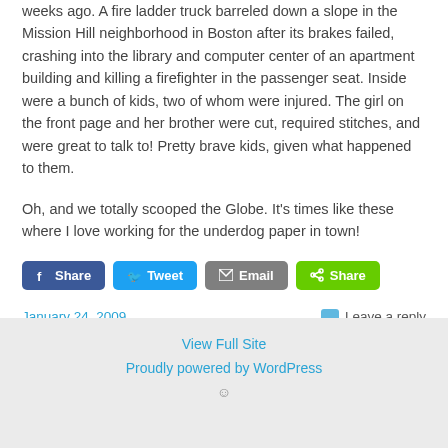weeks ago. A fire ladder truck barreled down a slope in the Mission Hill neighborhood in Boston after its brakes failed, crashing into the library and computer center of an apartment building and killing a firefighter in the passenger seat. Inside were a bunch of kids, two of whom were injured. The girl on the front page and her brother were cut, required stitches, and were great to talk to! Pretty brave kids, given what happened to them.
Oh, and we totally scooped the Globe. It's times like these where I love working for the underdog paper in town!
[Figure (other): Social sharing buttons: Share (Facebook), Tweet (Twitter), Email, Share (green)]
January 24, 2009
Leave a reply
View Full Site
Proudly powered by WordPress